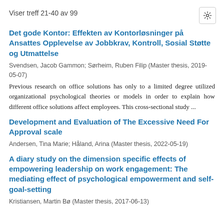Viser treff 21-40 av 99
Det gode Kontor: Effekten av Kontorløsninger på Ansattes Opplevelse av Jobbkrav, Kontroll, Sosial Støtte og Utmattelse
Svendsen, Jacob Gammon; Sørheim, Ruben Filip (Master thesis, 2019-05-07)
Previous research on office solutions has only to a limited degree utilized organizational psychological theories or models in order to explain how different office solutions affect employees. This cross-sectional study ...
Development and Evaluation of The Excessive Need For Approval scale
Andersen, Tina Marie; Håland, Arina (Master thesis, 2022-05-19)
A diary study on the dimension specific effects of empowering leadership on work engagement: The mediating effect of psychological empowerment and self-goal-setting
Kristiansen, Martin Bø (Master thesis, 2017-06-13)